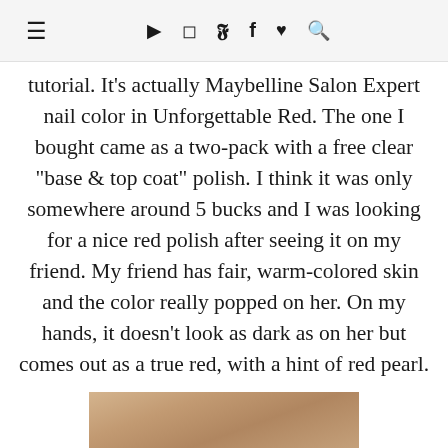≡ ▶ 📷 𝕏 f ♥ 🔍
tutorial. It's actually Maybelline Salon Expert nail color in Unforgettable Red. The one I bought came as a two-pack with a free clear "base & top coat" polish. I think it was only somewhere around 5 bucks and I was looking for a nice red polish after seeing it on my friend. My friend has fair, warm-colored skin and the color really popped on her. On my hands, it doesn't look as dark as on her but comes out as a true red, with a hint of red pearl.
[Figure (photo): Partial photo of hands with red nail polish visible at bottom of page]